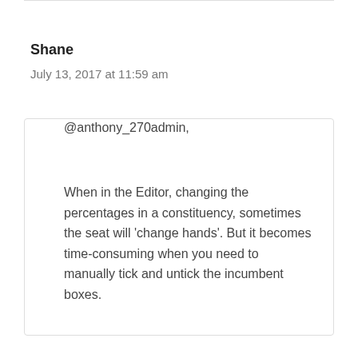Shane
July 13, 2017 at 11:59 am
@anthony_270admin,
When in the Editor, changing the percentages in a constituency, sometimes the seat will ‘change hands’. But it becomes time-consuming when you need to manually tick and untick the incumbent boxes.